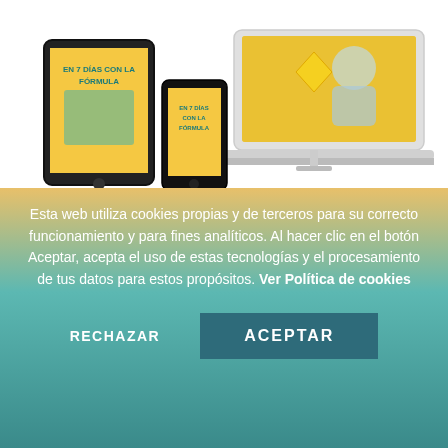[Figure (illustration): Devices mockup showing tablets, smartphone, and laptop with a course book cover displayed on them. The book cover has yellow/gold background with text 'En 7 días con la fórmula'.]
+
5 Bonos Extra
+ 85 minutos de prácticas guiadas para
Esta web utiliza cookies propias y de terceros para su correcto funcionamiento y para fines analíticos. Al hacer clic en el botón Aceptar, acepta el uso de estas tecnologías y el procesamiento de tus datos para estos propósitos. Ver Política de cookies
RECHAZAR
ACEPTAR